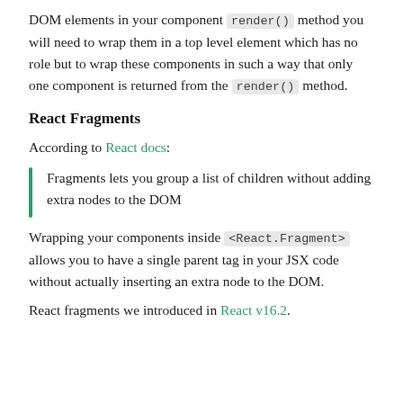DOM elements in your component render() method you will need to wrap them in a top level element which has no role but to wrap these components in such a way that only one component is returned from the render() method.
React Fragments
According to React docs:
Fragments lets you group a list of children without adding extra nodes to the DOM
Wrapping your components inside <React.Fragment> allows you to have a single parent tag in your JSX code without actually inserting an extra node to the DOM.
React fragments we introduced in React v16.2.